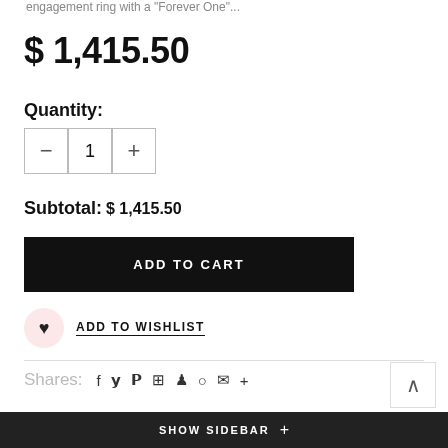engagement ring with a "Forever One"...
$ 1,415.50
Quantity:
Subtotal: $ 1,415.50
ADD TO CART
ADD TO WISHLIST
Shares:
SHOW SIDEBAR +